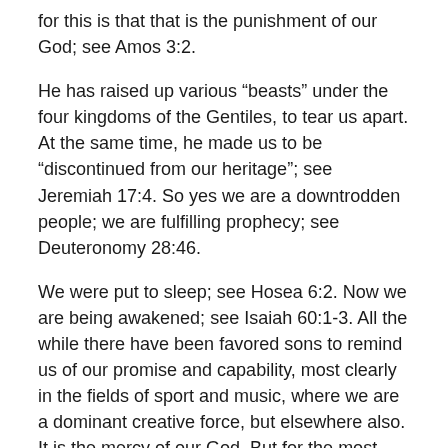for this is that that is the punishment of our God; see Amos 3:2.
He has raised up various “beasts” under the four kingdoms of the Gentiles, to tear us apart. At the same time, he made us to be “discontinued from our heritage”; see Jeremiah 17:4. So yes we are a downtrodden people; we are fulfilling prophecy; see Deuteronomy 28:46.
We were put to sleep; see Hosea 6:2. Now we are being awakened; see Isaiah 60:1-3. All the while there have been favored sons to remind us of our promise and capability, most clearly in the fields of sport and music, where we are a dominant creative force, but elsewhere also. It is the mercy of our God. But for the most part we have been a downtrodden people, an “astonishment. a proverb, and byword”; see Deuteronomy 28:37.